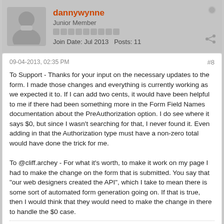dannywynne
Junior Member
Join Date: Jul 2013   Posts: 11
09-04-2013, 02:35 PM
#8
To Support - Thanks for your input on the necessary updates to the form. I made those changes and everything is currently working as we expected it to. If I can add two cents, it would have been helpful to me if there had been something more in the Form Field Names documentation about the PreAuthorization option. I do see where it says $0, but since I wasn't searching for that, I never found it. Even adding in that the Authorization type must have a non-zero total would have done the trick for me.

To @cliff.archey - For what it's worth, to make it work on my page I had to make the change on the form that is submitted. You say that "our web designers created the API", which I take to mean there is some sort of automated form generation going on. If that is true, then I would think that they would need to make the change in there to handle the $0 case.
CnP.Support
C&P Support
Join Date: May 2000   Posts: 8121